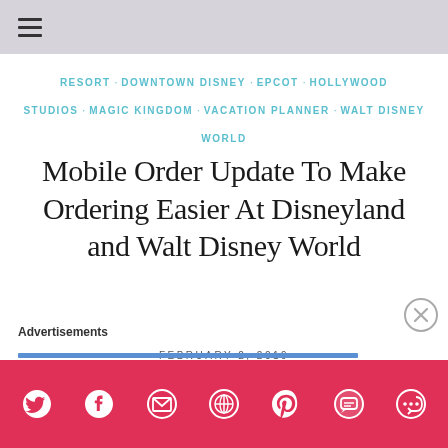≡
RESORT · DOWNTOWN DISNEY · EPCOT · HOLLYWOOD STUDIOS · MAGIC KINGDOM · VACATION PLANNER · WALT DISNEY WORLD
Mobile Order Update To Make Ordering Easier At Disneyland and Walt Disney World
FEBRUARY 2, 2019
Advertisements
[Figure (other): Social sharing bar with icons: Twitter, Facebook, Email, WordPress, Pinterest, SMS, Share]